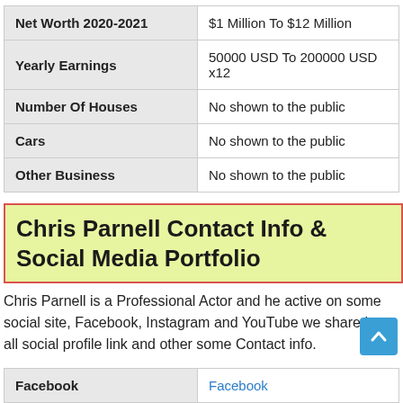|  |  |
| --- | --- |
| Net Worth 2020-2021 | $1 Million To $12 Million |
| Yearly Earnings | 50000 USD To 200000 USD x12 |
| Number Of Houses | No shown to the public |
| Cars | No shown to the public |
| Other Business | No shown to the public |
Chris Parnell Contact Info & Social Media Portfolio
Chris Parnell is a Professional Actor and he active on some social site, Facebook, Instagram and YouTube we share her all social profile link and other some Contact info.
|  |  |
| --- | --- |
| Facebook | Facebook |